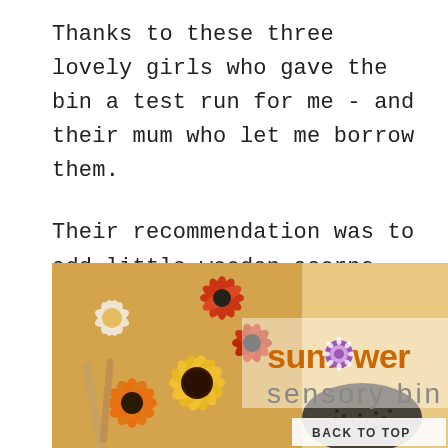Thanks to these three lovely girls who gave the bin a test run for me - and their mum who let me borrow them.
Their recommendation was to add little wooden acorns.  Keeping my eye out for little wooden acorns.
[Figure (photo): Photo of sunflowers and daisy flowers in warm autumn colors (orange, red, yellow, cream) with sunflower seeds in a bowl, overlaid with text reading 'sunflower sensory bin' with a floral 'o' in sunflower, and a 'BACK TO TOP' button in the lower right.]